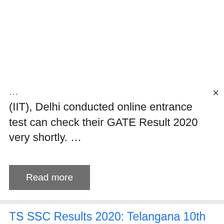(IIT), Delhi conducted online entrance test can check their GATE Result 2020 very shortly. …
Read more
TS SSC Results 2020: Telangana 10th Results 2020 Manabadi & bse.telangana.gov.in